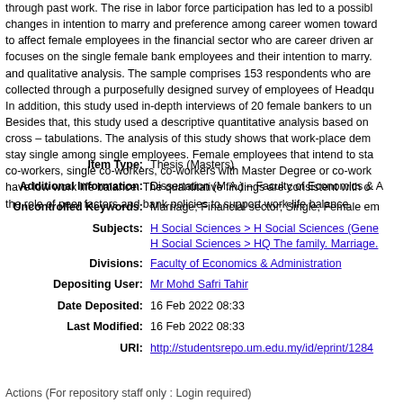through past work. The rise in labor force participation has led to a possible changes in intention to marry and preference among career women toward... to affect female employees in the financial sector who are career driven and... focuses on the single female bank employees and their intention to marry... and qualitative analysis. The sample comprises 153 respondents who are collected through a purposefully designed survey of employees of Headquarters. In addition, this study used in-depth interviews of 20 female bankers to understand. Besides that, this study used a descriptive quantitative analysis based on cross – tabulations. The analysis of this study shows that work-place demographics stay single among single employees. Female employees that intend to stay co-workers, single co-workers, co-workers with Master Degree or co-workers have low work life balance. The quantitative findings are consistent with our the role of peer factors and bank policies to support work-life balance.
Item Type: Thesis (Masters)
Additional Information: Dissertation (M.A.) – Faculty of Economics &
Uncontrolled Keywords: Marriage; Financial sector; Single; Female em
Subjects: H Social Sciences > H Social Sciences (General)
H Social Sciences > HQ The family. Marriage.
Divisions: Faculty of Economics & Administration
Depositing User: Mr Mohd Safri Tahir
Date Deposited: 16 Feb 2022 08:33
Last Modified: 16 Feb 2022 08:33
URI: http://studentsrepo.um.edu.my/id/eprint/12841
Actions (For repository staff only : Login required)